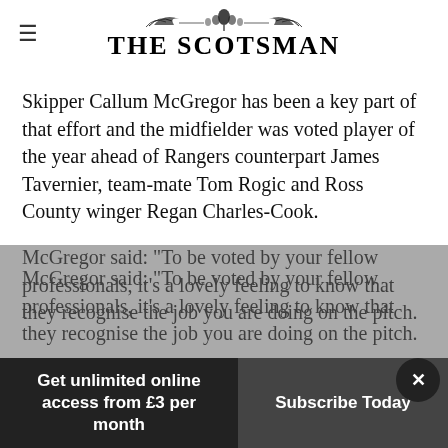THE SCOTSMAN
Skipper Callum McGregor has been a key part of that effort and the midfielder was voted player of the year ahead of Rangers counterpart James Tavernier, team-mate Tom Rogic and Ross County winger Regan Charles-Cook.
McGregor said: "To be voted by your fellow professionals, it's a lovely feeling to know that they recognise the job you are doing on the pitch.
Get unlimited online access from £3 per month
Subscribe Today